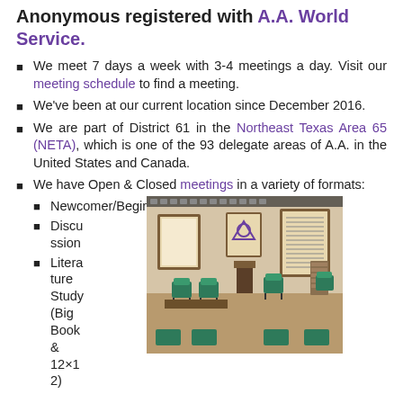Anonymous registered with A.A. World Service.
We meet 7 days a week with 3-4 meetings a day. Visit our meeting schedule to find a meeting.
We've been at our current location since December 2016.
We are part of District 61 in the Northeast Texas Area 65 (NETA), which is one of the 93 delegate areas of A.A. in the United States and Canada.
We have Open & Closed meetings in a variety of formats:
Newcomer/Beginner
Discussion
Literature Study (Big Book & 12×12)
[Figure (photo): Interior of an A.A. meeting room with teal chairs arranged in rows, a podium at the front, and framed posters/signs on the wall.]